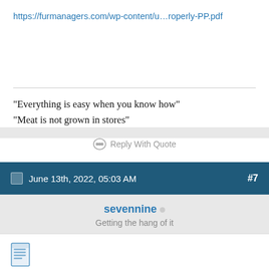https://furmanagers.com/wp-content/u...roperly-PP.pdf
"Everything is easy when you know how"
"Meat is not grown in stores"
Reply With Quote
June 13th, 2022, 05:03 AM  #7
sevennine
Getting the hang of it
[Figure (illustration): Document/file icon (blue lined document)]